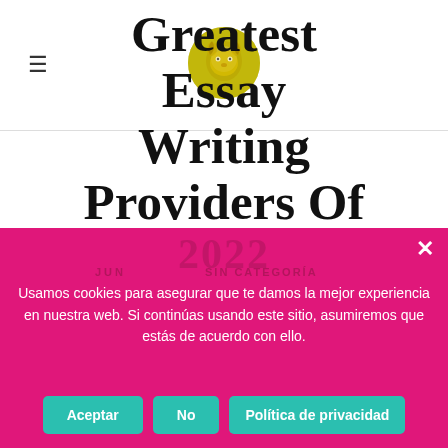[Figure (logo): Circular golden logo with a stylized lion/animal face, website branding]
Greatest Essay Writing Providers Of 2022
JUN
SIN CATEGORÍA
Usamos cookies para asegurar que te damos la mejor experiencia en nuestra web. Si continúas usando este sitio, asumiremos que estás de acuerdo con ello.
Aceptar
No
Política de privacidad